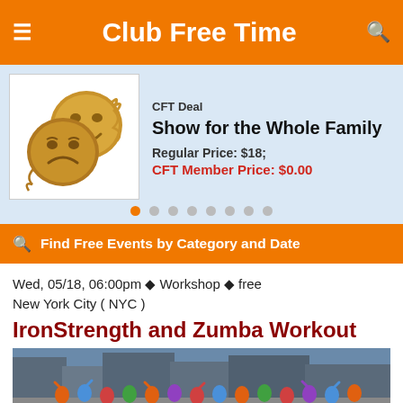Club Free Time
[Figure (illustration): Theatre comedy and tragedy masks in gold/brown color]
CFT Deal
Show for the Whole Family
Regular Price: $18;
CFT Member Price: $0.00
Find Free Events by Category and Date
Wed, 05/18, 06:00pm ◆ Workshop ◆ free
New York City ( NYC )
IronStrength and Zumba Workout
[Figure (photo): Outdoor group exercise/dance class with many participants in an urban setting]